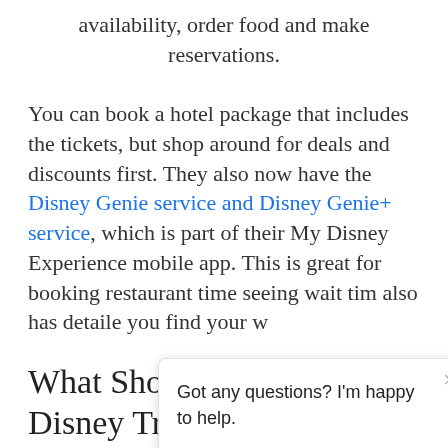availability, order food and make reservations.
You can book a hotel package that includes the tickets, but shop around for deals and discounts first. They also now have the Disney Genie service and Disney Genie+ service, which is part of their My Disney Experience mobile app. This is great for booking restaurant time[s], seeing wait tim[es], also has detaile[d maps to help] you find your w[ay]
What Should I Pack for My Disney Trip?
[Figure (other): Chat popup widget showing message 'Got any questions? I'm happy to help.' with a close X button, a grey bar, and a purple circular chat icon button in the bottom right corner.]